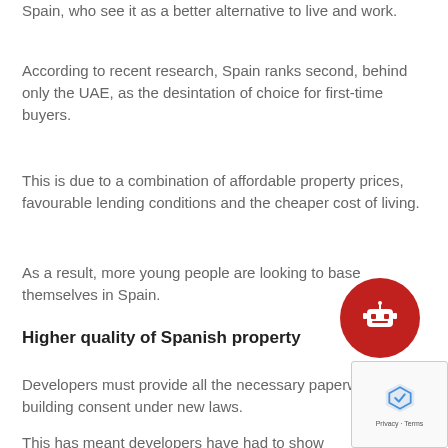Spain, who see it as a better alternative to live and work.
According to recent research, Spain ranks second, behind only the UAE, as the desintation of choice for first-time buyers.
This is due to a combination of affordable property prices, favourable lending conditions and the cheaper cost of living.
As a result, more young people are looking to base themselves in Spain.
Higher quality of Spanish property
Developers must provide all the necessary paperwork for building consent under new laws.
This has meant developers have had to show th... offering houses of a higher quality.
As such, with new developments you can expect homes to